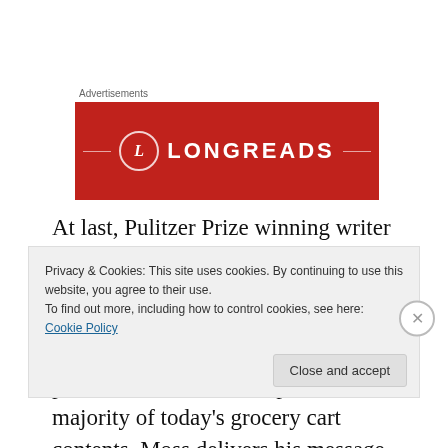Advertisements
[Figure (logo): Longreads advertisement banner — red background with circular L logo and LONGREADS text in white with decorative horizontal lines]
At last, Pulitzer Prize winning writer Michael Moss has provided health-conscious readers with a comprehensive and entertaining look at the history and production of the processed food that comprises the majority of today's grocery cart contents. Moss delivers his message – that
Privacy & Cookies: This site uses cookies. By continuing to use this website, you agree to their use.
To find out more, including how to control cookies, see here: Cookie Policy
Close and accept